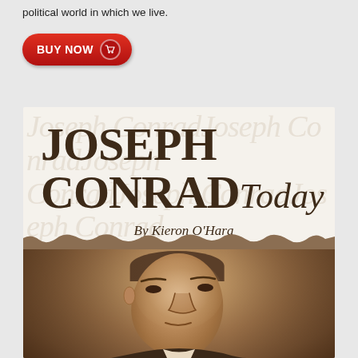political world in which we live.
[Figure (other): Red 'BUY NOW' button with shopping cart icon]
[Figure (illustration): Book cover of 'Joseph Conrad Today' by Kieron O'Hara, showing title text over a torn-paper design with a sepia portrait photo of Joseph Conrad below.]